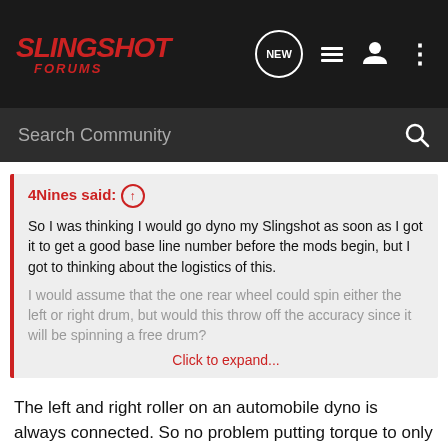SLINGSHOT FORUMS
Search Community
4Nines said: ↑
So I was thinking I would go dyno my Slingshot as soon as I got it to get a good base line number before the mods begin, but I got to thinking about the logistics of this.

I would assume that the one rear wheel could spin either the left or right drum, but would this throw off the accuracy since it will be spinning a free drum?
Click to expand...
The left and right roller on an automobile dyno is always connected. So no problem putting torque to only one side. The bigger issue would be that the vehicle would be position a few feet to one side when strapped down. And often in-ground hooks for strapping won't be where they need to be for assymetric positioning. That's solvable though.